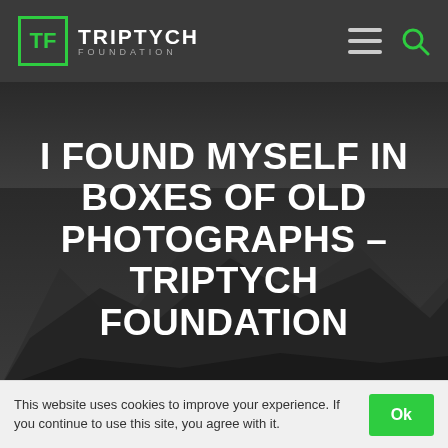TRIPTYCH FOUNDATION
[Figure (photo): Dark mountain landscape hero image with large white bold uppercase text overlay reading: I FOUND MYSELF IN BOXES OF OLD PHOTOGRAPHS – TRIPTYCH FOUNDATION]
I FOUND MYSELF IN BOXES OF OLD PHOTOGRAPHS – TRIPTYCH FOUNDATION
After my brother's suicide nearly two decades ago, my
This website uses cookies to improve your experience. If you continue to use this site, you agree with it.